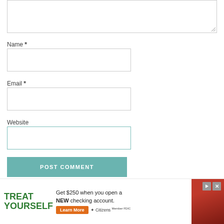[Figure (screenshot): Textarea input box for comment, partially visible at top of page]
Name *
[Figure (screenshot): Name input text field box]
Email *
[Figure (screenshot): Email input text field box]
Website
[Figure (screenshot): Website input text field box with teal border]
[Figure (screenshot): POST COMMENT button in teal/green color]
Current
[Figure (screenshot): Advertisement banner: TREAT YOURSELF - Get $250 when you open a NEW checking account. Learn More. Citizens Bank. Member FDIC. Shows woman with red dress.]